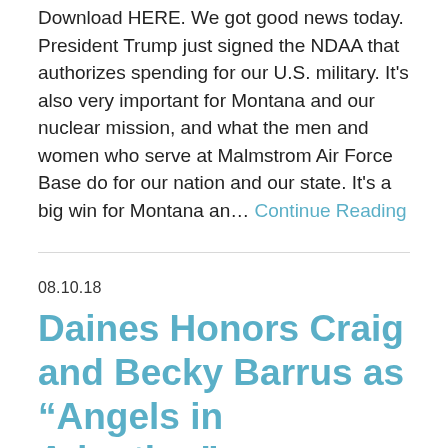Download HERE. We got good news today. President Trump just signed the NDAA that authorizes spending for our U.S. military. It's also very important for Montana and our nuclear mission, and what the men and women who serve at Malmstrom Air Force Base do for our nation and our state. It's a big win for Montana an… Continue Reading
08.10.18
Daines Honors Craig and Becky Barrus as “Angels in Adoption”
U.S. SENATE. U.S. Senator Steve Daines today